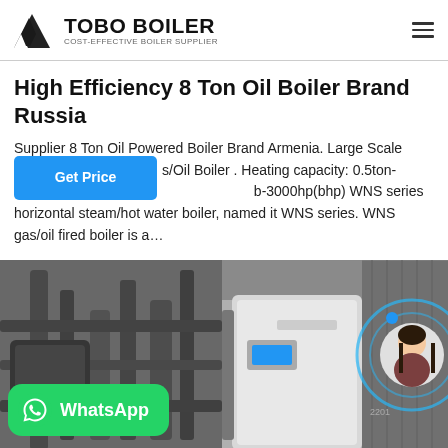TOBO BOILER — COST-EFFECTIVE BOILER SUPPLIER
High Efficiency 8 Ton Oil Boiler Brand Russia
Supplier 8 Ton Oil Powered Boiler Brand Armenia. Large Scale s/Oil Boiler . Heating capacity: 0.5ton-50ton, 350kw-b-3000hp(bhp) WNS series horizontal steam/hot water boiler, named it WNS series. WNS gas/oil fired boiler is a…
[Figure (photo): Two side-by-side photos of industrial boilers: left shows pipes and machinery in black-and-white style, right shows a modern white boiler unit with a woman chat avatar overlay and blue circular animation]
[Figure (logo): WhatsApp button overlay on the boiler image]